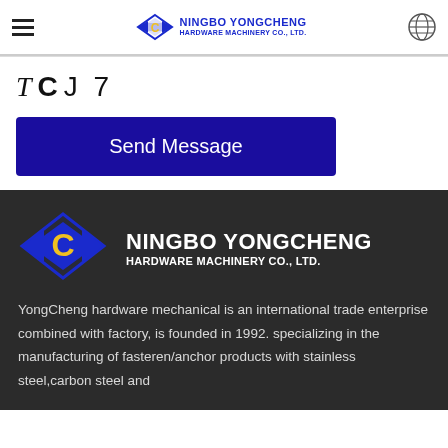NINGBO YONGCHENG HARDWARE MACHINERY CO., LTD.
TCJ 7
Send Message
[Figure (logo): Ningbo Yongcheng Hardware Machinery Co., Ltd. logo with blue diamond shape and yellow C letter]
NINGBO YONGCHENG HARDWARE MACHINERY CO., LTD.
YongCheng hardware mechanical is an international trade enterprise combined with factory, is founded in 1992. specializing in the manufacturing of fasteren/anchor products with stainless steel,carbon steel and